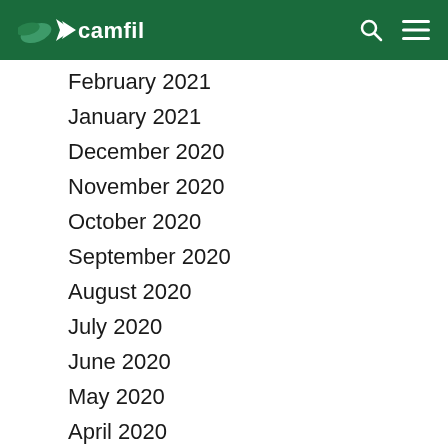Camfil
February 2021
January 2021
December 2020
November 2020
October 2020
September 2020
August 2020
July 2020
June 2020
May 2020
April 2020
March 2020
February 2020
January 2020